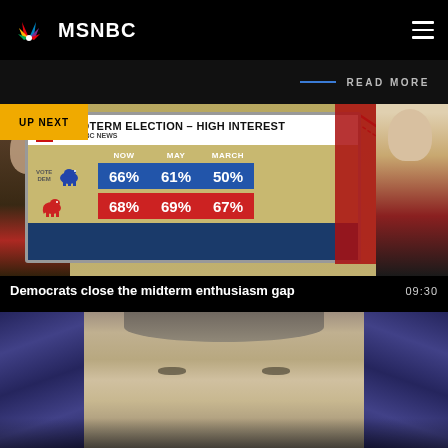MSNBC
READ MORE
[Figure (screenshot): UP NEXT badge with video thumbnail showing NBC News midterm election high interest chart with Democrat 66%/61%/50% and Republican 68%/69%/67% data, and a news anchor on the right]
Democrats close the midterm enthusiasm gap  09:30
[Figure (photo): Close-up photo of a man's face looking upward, with American flags blurred in the background]